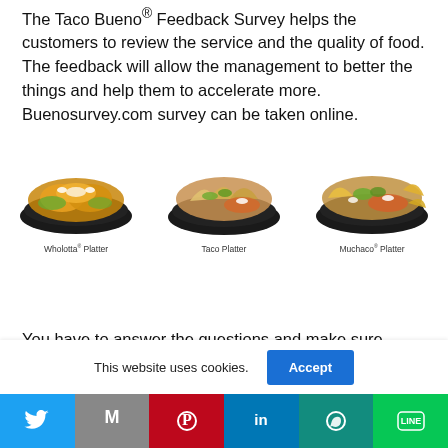The Taco Bueno® Feedback Survey helps the customers to review the service and the quality of food. The feedback will allow the management to better the things and help them to accelerate more. Buenosurvey.com survey can be taken online.
[Figure (photo): Three Taco Bueno food platters: Wholotta® Platter, Taco Platter, and Muchaco® Platter, each shown on a dark plate with Mexican food items.]
You have to answer the questions and make sure,
This website uses cookies.
Accept
[Figure (infographic): Social media sharing bar with Twitter, Gmail, Pinterest, LinkedIn, WhatsApp, and LINE buttons]